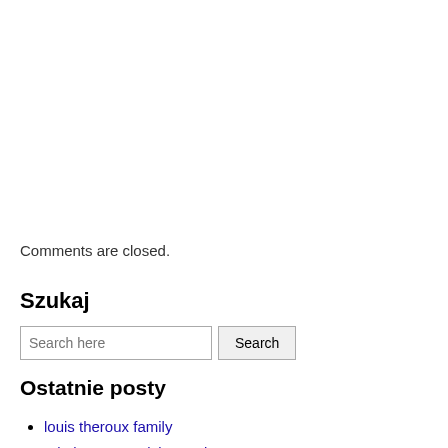Comments are closed.
Szukaj
Search here [input] Search [button]
Ostatnie posty
louis theroux family
Z koksem ze Zdzieszowic
Z rtecia w Sosnowcu